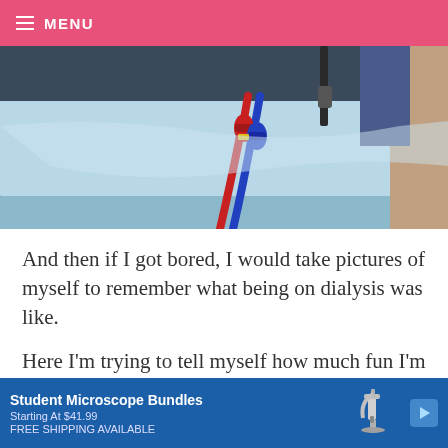MENU
[Figure (photo): Close-up photo of dialysis tubing/catheters with red and blue connectors on a patient covered with a light blue medical drape, with equipment visible in the background.]
And then if I got bored, I would take pictures of myself to remember what being on dialysis was like.
Here I’m trying to tell myself how much fun I’m having. Woohoo!
I have a bunch of sad pics too, but I promise you
[Figure (screenshot): Advertisement banner: Student Microscope Bundles, Starting At $41.99, FREE SHIPPING AVAILABLE, with an image of a microscope on blue background with a play button icon.]